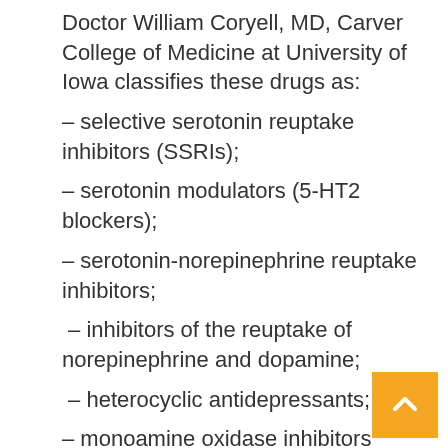Doctor William Coryell, MD, Carver College of Medicine at University of Iowa classifies these drugs as:
– selective serotonin reuptake inhibitors (SSRIs);
– serotonin modulators (5-HT2 blockers);
– serotonin-norepinephrine reuptake inhibitors;
– inhibitors of the reuptake of norepinephrine and dopamine;
– heterocyclic antidepressants;
– monoamine oxidase inhibitors (MAOIs);
– melatonergic antidepressant.
The choice of medication may depend on the